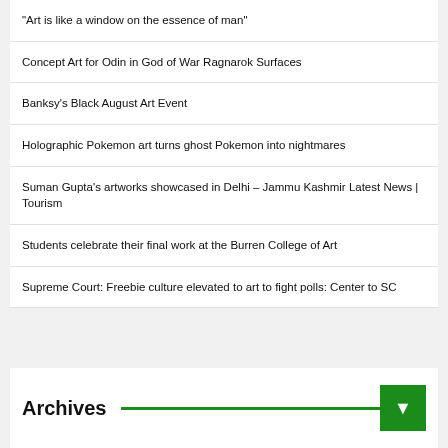“Art is like a window on the essence of man”
Concept Art for Odin in God of War Ragnarok Surfaces
Banksy’s Black August Art Event
Holographic Pokemon art turns ghost Pokemon into nightmares
Suman Gupta’s artworks showcased in Delhi – Jammu Kashmir Latest News | Tourism
Students celebrate their final work at the Burren College of Art
Supreme Court: Freebie culture elevated to art to fight polls: Center to SC
Archives